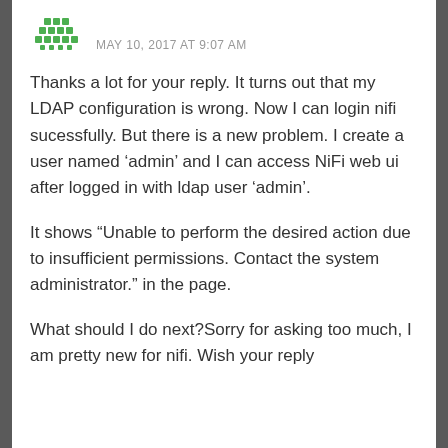[Figure (logo): Green pixelated/dot-grid avatar icon]
MAY 10, 2017 AT 9:07 AM
Thanks a lot for your reply. It turns out that my LDAP configuration is wrong. Now I can login nifi sucessfully. But there is a new problem. I create a user named ‘admin’ and I can access NiFi web ui after logged in with ldap user ‘admin’.
It shows “Unable to perform the desired action due to insufficient permissions. Contact the system administrator.” in the page.
What should I do next?Sorry for asking too much, I am pretty new for nifi. Wish your reply